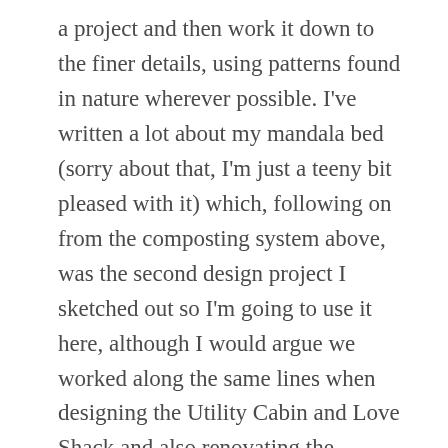a project and then work it down to the finer details, using patterns found in nature wherever possible. I've written a lot about my mandala bed (sorry about that, I'm just a teeny bit pleased with it) which, following on from the composting system above, was the second design project I sketched out so I'm going to use it here, although I would argue we worked along the same lines when designing the Utility Cabin and Love Shack and also renovating the kitchen. I started with a plain circle and having fiddled around with several pattern ideas for paths and beds, decided to keep it